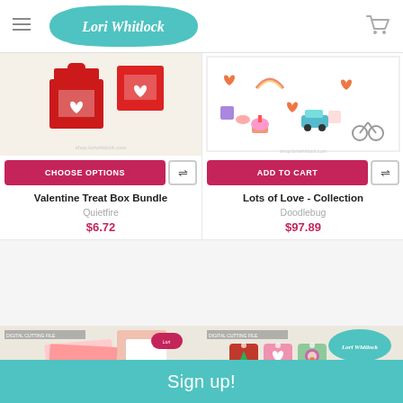Lori Whitlock
[Figure (photo): Valentine Treat Box Bundle product image - red gift boxes with heart decorations]
[Figure (photo): Lots of Love Collection product image - colorful sticker sheet with valentines themed illustrations]
CHOOSE OPTIONS
ADD TO CART
Valentine Treat Box Bundle
Quietfire
$6.72
Lots of Love - Collection
Doodlebug
$97.89
[Figure (photo): Love You Step Card Bundle digital cutting file product packaging]
[Figure (photo): Christmas Tag Gift Card Bundle digital cutting file product packaging]
Sign up!